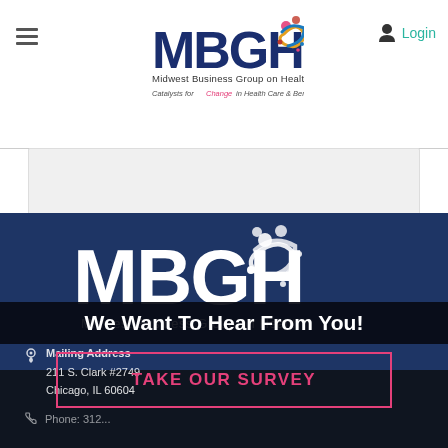[Figure (logo): MBGH (Midwest Business Group on Health) website header with hamburger menu, centered MBGH logo with colorful icon, and Login button top right]
[Figure (logo): MBGH Midwest Business Group on Health large white logo on dark blue background]
Mailing Address
211 S. Clark #2749
Chicago, IL 60604
We Want To Hear From You!
TAKE OUR SURVEY
Phone: 312...